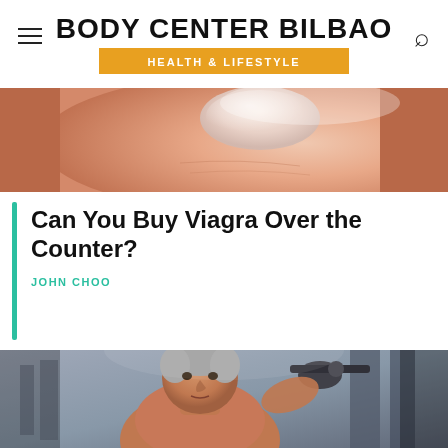BODY CENTER BILBAO — HEALTH & LIFESTYLE
[Figure (photo): Close-up photo of human skin/body part, pinkish fleshy tones, macro shot]
Can You Buy Viagra Over the Counter?
JOHN CHOO
[Figure (photo): Older muscular man with grey hair working out in a gym, shirtless, using cable machine equipment, looking directly at camera]